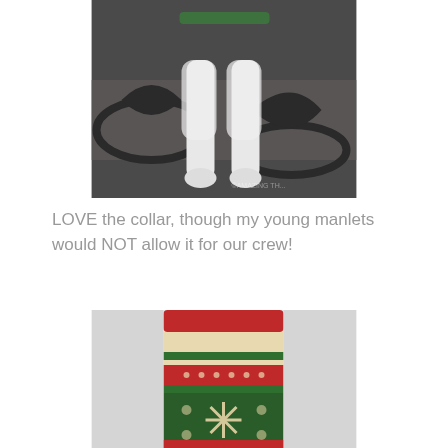[Figure (photo): Close-up photo of a dog standing on ornate black wrought iron furniture, showing the dog's white fluffy legs and paws, with a green collar partially visible at the top. Watermark visible in lower right corner.]
LOVE the collar, though my young manlets would NOT allow it for our crew!
[Figure (photo): Photo of a knitted Christmas stocking or leg warmer with holiday pattern featuring red, cream/beige, and green stripes with snowflake designs, on a white background.]